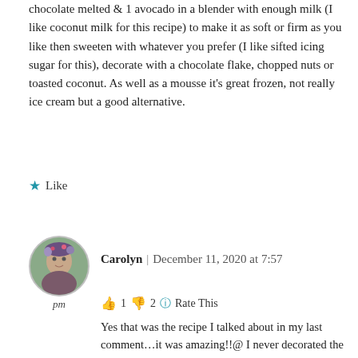chocolate melted & 1 avocado in a blender with enough milk (I like coconut milk for this recipe) to make it as soft or firm as you like then sweeten with whatever you prefer (I like sifted icing sugar for this), decorate with a chocolate flake, chopped nuts or toasted coconut. As well as a mousse it's great frozen, not really ice cream but a good alternative.
★ Like
[Figure (photo): Circular avatar photo of a woman (Carolyn) with floral accessories, displayed with label 'pm' below]
Carolyn | December 11, 2020 at 7:57 pm
👍 1 👎 2 ℹ Rate This
Yes that was the recipe I talked about in my last comment…it was amazing!!@ I never decorated the top but OMG that sounds so good! Xxxx